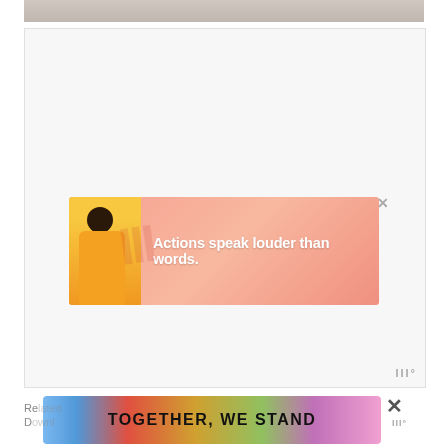[Figure (photo): Top edge of a photo, showing a light gray/beige surface, cropped at the top of the page]
[Figure (other): Large white/light gray content area with an embedded advertisement banner reading 'Actions speak louder than words.' with a person in yellow on a pink background, and a close (X) button]
[Figure (other): Bottom advertisement banner reading 'TOGETHER, WE STAND' on a colorful gradient background with a close (X) button]
Re... lands D...